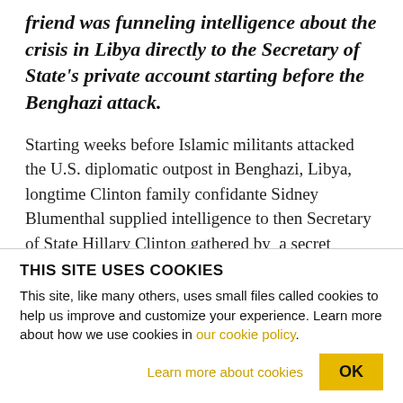friend was funneling intelligence about the crisis in Libya directly to the Secretary of State's private account starting before the Benghazi attack.
Starting weeks before Islamic militants attacked the U.S. diplomatic outpost in Benghazi, Libya, longtime Clinton family confidante Sidney Blumenthal supplied intelligence to then Secretary of State Hillary Clinton gathered by  a secret network that included a former CIA clandestine service officer, according to hacked emails from Blumenthal's
THIS SITE USES COOKIES
This site, like many others, uses small files called cookies to help us improve and customize your experience. Learn more about how we use cookies in our cookie policy.
Learn more about cookies